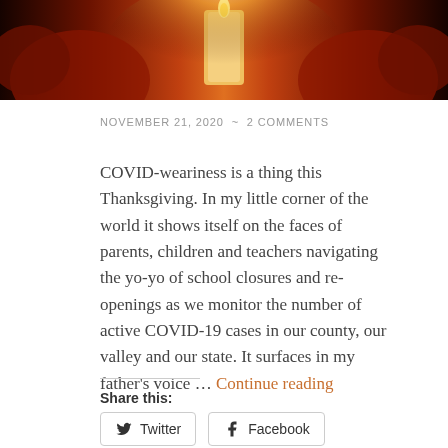[Figure (photo): Dark photo of candles and pumpkins with warm orange and red tones, a glowing candle in the center]
NOVEMBER 21, 2020 ~ 2 COMMENTS
COVID-weariness is a thing this Thanksgiving. In my little corner of the world it shows itself on the faces of parents, children and teachers navigating the yo-yo of school closures and re-openings as we monitor the number of active COVID-19 cases in our county, our valley and our state. It surfaces in my father's voice … Continue reading
Share this:
Twitter
Facebook